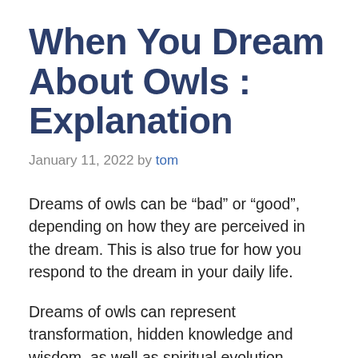When You Dream About Owls : Explanation
January 11, 2022 by tom
Dreams of owls can be “bad” or “good”, depending on how they are perceived in the dream. This is also true for how you respond to the dream in your daily life.
Dreams of owls can represent transformation, hidden knowledge and wisdom, as well as spiritual evolution. Dreams of owls can represent the...